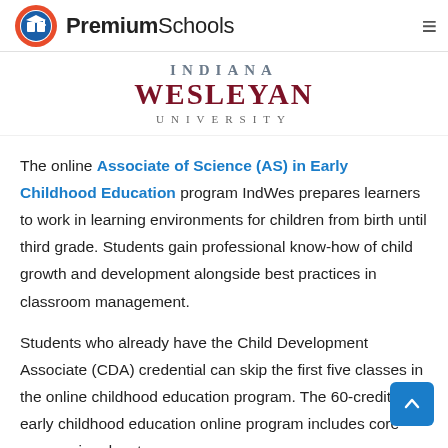PremiumSchools
[Figure (logo): Indiana Wesleyan University logo with text INDIANA WESLEYAN UNIVERSITY in serif font, maroon and grey colors]
The online Associate of Science (AS) in Early Childhood Education program IndWes prepares learners to work in learning environments for children from birth until third grade. Students gain professional know-how of child growth and development alongside best practices in classroom management.
Students who already have the Child Development Associate (CDA) credential can skip the first five classes in the online childhood education program. The 60-credit early childhood education online program includes core courses in educator...